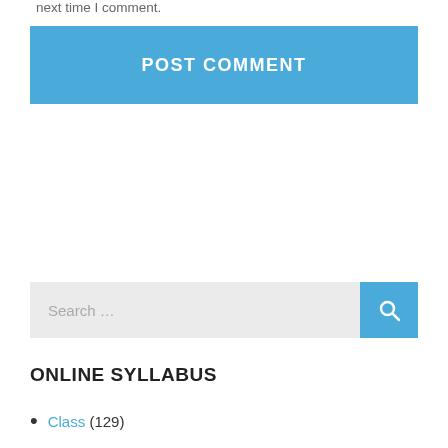next time I comment.
POST COMMENT
Search …
ONLINE SYLLABUS
Class (129)